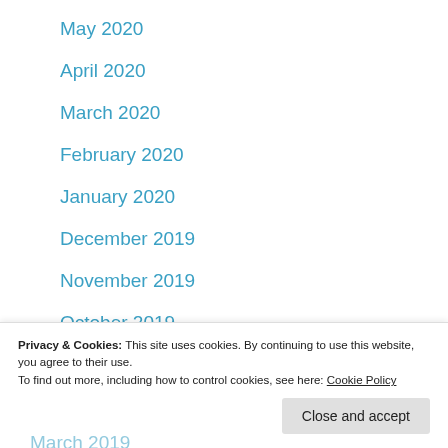May 2020
April 2020
March 2020
February 2020
January 2020
December 2019
November 2019
October 2019
August 2019
Privacy & Cookies: This site uses cookies. By continuing to use this website, you agree to their use.
To find out more, including how to control cookies, see here: Cookie Policy
March 2019